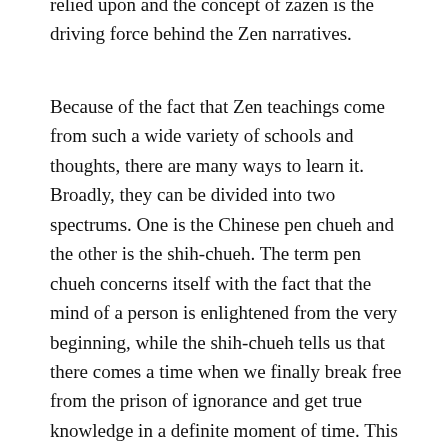relied upon and the concept of zazen is the driving force behind the Zen narratives.
Because of the fact that Zen teachings come from such a wide variety of schools and thoughts, there are many ways to learn it. Broadly, they can be divided into two spectrums. One is the Chinese pen chueh and the other is the shih-chueh. The term pen chueh concerns itself with the fact that the mind of a person is enlightened from the very beginning, while the shih-chueh tells us that there comes a time when we finally break free from the prison of ignorance and get true knowledge in a definite moment of time. This paradigm focuses heavily on the moment of clarity, which happens to a person as he becomes fully enlightened. So essentially, the process of enlightened is time free, but the actual act of being enlightened comes in a specific period of time.